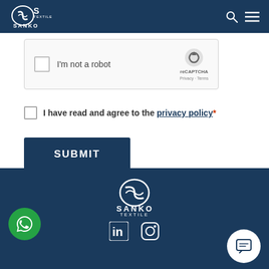SANKO TEXTILE
[Figure (screenshot): reCAPTCHA widget with checkbox and 'I'm not a robot' text, showing reCAPTCHA logo with Privacy and Terms links]
I have read and agree to the privacy policy*
SUBMIT
SANKO TEXTILE footer with logo, LinkedIn icon, Instagram icon, WhatsApp button, and chat button